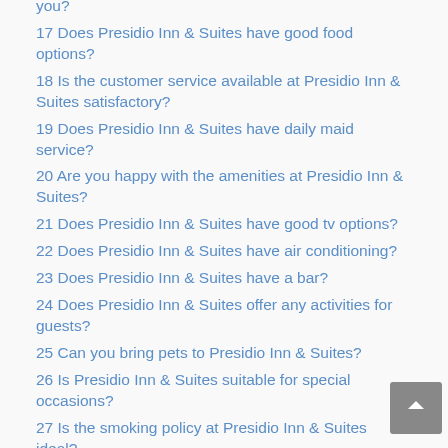you?
17 Does Presidio Inn & Suites have good food options?
18 Is the customer service available at Presidio Inn & Suites satisfactory?
19 Does Presidio Inn & Suites have daily maid service?
20 Are you happy with the amenities at Presidio Inn & Suites?
21 Does Presidio Inn & Suites have good tv options?
22 Does Presidio Inn & Suites have air conditioning?
23 Does Presidio Inn & Suites have a bar?
24 Does Presidio Inn & Suites offer any activities for guests?
25 Can you bring pets to Presidio Inn & Suites?
26 Is Presidio Inn & Suites suitable for special occasions?
27 Is the smoking policy at Presidio Inn & Suites ideal?
28 Are there good health and safety measures at Presidio Inn & Suites?
29 Will your luggage be safe at Presidio Inn & Suites?